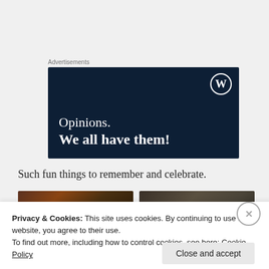Advertisements
[Figure (illustration): WordPress advertisement banner with dark navy background, WordPress logo (W in circle) top right, text 'Opinions. We all have them!' in white serif font]
Such fun things to remember and celebrate.
[Figure (photo): Two thumbnail images side by side, left showing warm brown tones, right showing dark olive/brown tones]
Privacy & Cookies: This site uses cookies. By continuing to use this website, you agree to their use.
To find out more, including how to control cookies, see here: Cookie Policy
Close and accept